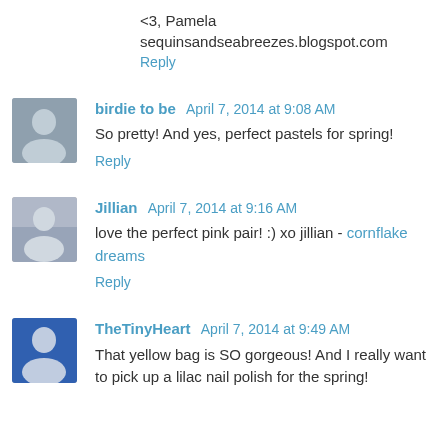<3, Pamela
sequinsandseabreezes.blogspot.com
Reply
birdie to be  April 7, 2014 at 9:08 AM
So pretty! And yes, perfect pastels for spring!
Reply
Jillian  April 7, 2014 at 9:16 AM
love the perfect pink pair! :) xo jillian - cornflake dreams
Reply
TheTinyHeart  April 7, 2014 at 9:49 AM
That yellow bag is SO gorgeous! And I really want to pick up a lilac nail polish for the spring!